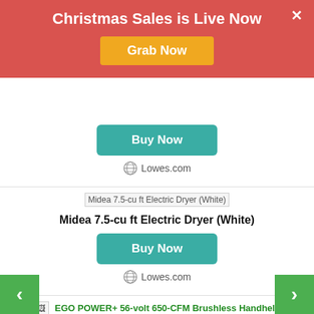Christmas Sales is Live Now
Grab Now
[Figure (screenshot): Broken image placeholder for Midea 7.5-cu ft Electric Dryer (White)]
Midea 7.5-cu ft Electric Dryer (White)
Buy Now
Lowes.com
[Figure (screenshot): Broken image placeholder for EGO POWER+ 56-volt 650-CFM Brushless Handheld Cordless Electric Leaf Blower 5 Ah (Battery & Charger Included)]
EGO POWER+ 56-volt 650-CFM Brushless Handheld Cordless Electric Leaf Blower 5 Ah (Battery & Charger Included)
EGO POWER+ 56-volt 650-CFM Brushless